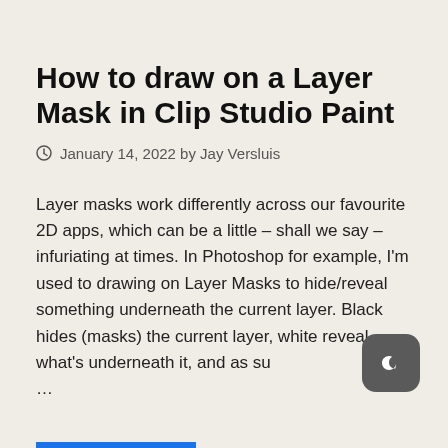How to draw on a Layer Mask in Clip Studio Paint
January 14, 2022 by Jay Versluis
Layer masks work differently across our favourite 2D apps, which can be a little – shall we say – infuriating at times. In Photoshop for example, I'm used to drawing on Layer Masks to hide/reveal something underneath the current layer. Black hides (masks) the current layer, white reveal what's underneath it, and as su …
[Figure (illustration): Dark mode toggle button icon (crescent moon on dark rounded square background)]